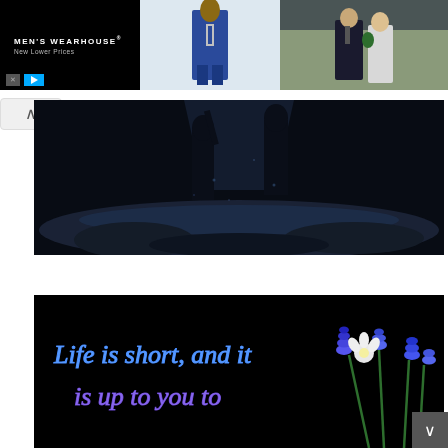[Figure (screenshot): Men's Wearhouse advertisement banner showing brand name, tagline 'New Lower Prices', a man in a blue suit, and a couple in formal wear]
[Figure (photo): Dark silhouette photo of a person standing on a rocky beach/shore with dramatic lighting, blue-tinted black and white tones]
[Figure (photo): Motivational quote image on black background with blue and purple glowing text: 'Life is short, and it is up to you to' with blue and white flowers in lower right corner]